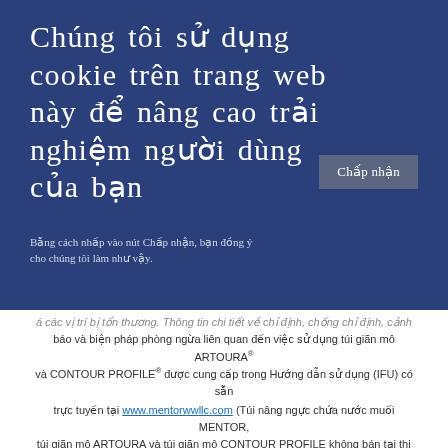Chúng tôi sử dụng cookie trên trang web này để nâng cao trải nghiệm người dùng của bạn
Chấp nhận
Bằng cách nhấp vào nút Chấp nhận, bạn đồng ý cho chúng tôi làm như vậy.
á các vị trí bị tổn thương. Thông tin chi tiết về chỉ định, chống chỉ định, cảnh báo và biện pháp phòng ngừa liên quan đến việc sử dụng túi giãn mô ARTOURA® và CONTOUR PROFILE® được cung cấp trong Hướng dẫn sử dụng (IFU) có sẵn trực tuyến tại www.mentorwwllc.com (Túi nâng ngực chứa nước muối MENTOR, túi giãn mô ARTOURA và túi giãn mô CONTOUR PROFILE không bán tại thị trường Việt Nam)